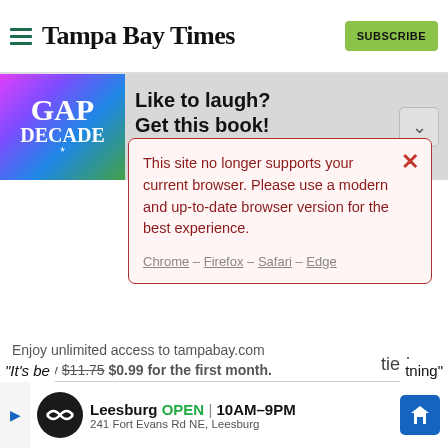Tampa Bay Times
[Figure (screenshot): Tampa Bay Times website header with hamburger menu, logo, and green Subscribe button]
[Figure (screenshot): Book advertisement banner: GAP DECADE book cover with text 'Like to laugh? Get this book!']
This site no longer supports your current browser. Please use a modern and up-to-date browser version for the best experience. Chrome – Firefox – Safari – Edge
Enjoy unlimited access to tampabay.com for only $11.75 $0.99 for the first month.
Subscribe  Log In
Interested in print delivery? Subscribe here →
[Figure (screenshot): Advertisement: Leesburg OPEN 10AM-9PM, 241 Fort Evans Rd NE, Leesburg with navigation icon]